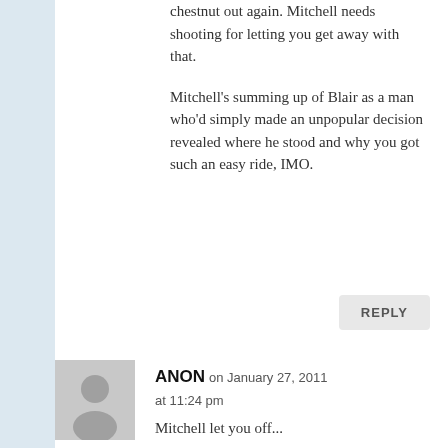chestnut out again. Mitchell needs shooting for letting you get away with that.

Mitchell's summing up of Blair as a man who'd simply made an unpopular decision revealed where he stood and why you got such an easy ride, IMO.
REPLY
[Figure (illustration): Gray avatar placeholder image showing a silhouette of a person]
ANON on January 27, 2011 at 11:24 pm
Mitchell let you off...